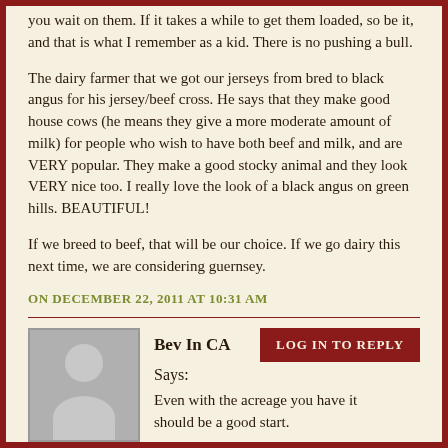you wait on them. If it takes a while to get them loaded, so be it, and that is what I remember as a kid. There is no pushing a bull.
The dairy farmer that we got our jerseys from bred to black angus for his jersey/beef cross. He says that they make good house cows (he means they give a more moderate amount of milk) for people who wish to have both beef and milk, and are VERY popular. They make a good stocky animal and they look VERY nice too. I really love the look of a black angus on green hills. BEAUTIFUL!
If we breed to beef, that will be our choice. If we go dairy this next time, we are considering guernsey.
ON DECEMBER 22, 2011 AT 10:31 AM
[Figure (illustration): Gray avatar silhouette placeholder image for commenter Bev In CA]
Bev In CA
Says:

Even with the acreage you have it should be a good start.